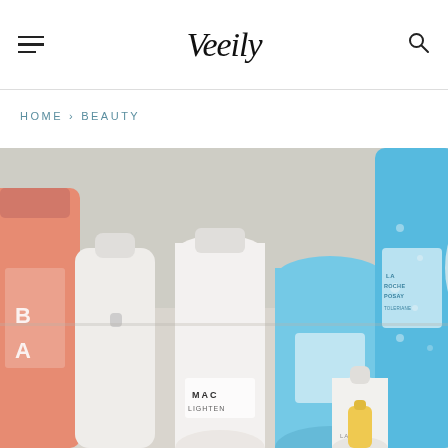Veeily
HOME > BEAUTY
[Figure (photo): A collection of skincare and beauty product bottles including MAC and La Roche-Posay items arranged on a shelf, with blue liquid bottles prominently featured.]